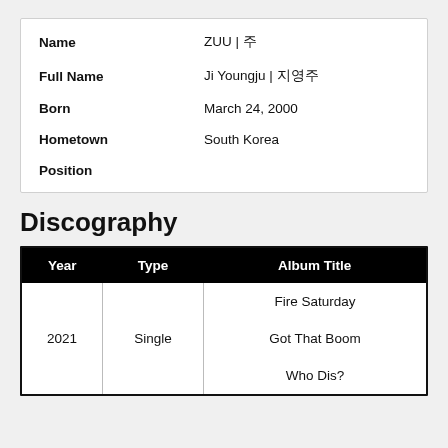| Name | ZUU | 주 |
| --- | --- |
| Full Name | Ji Youngju | 지영주 |
| Born | March 24, 2000 |
| Hometown | South Korea |
| Position |  |
Discography
| Year | Type | Album Title |
| --- | --- | --- |
| 2021 | Single | Fire Saturday |
| 2021 | Single | Got That Boom |
| 2021 | Single | Who Dis? |